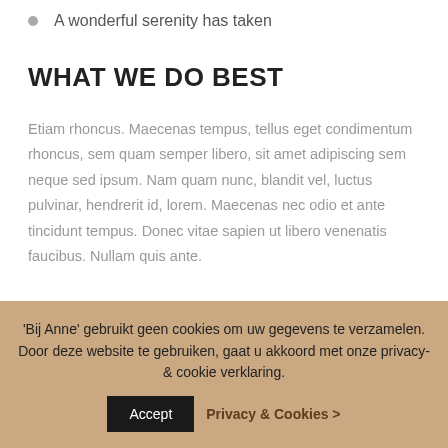A wonderful serenity has taken
WHAT WE DO BEST
Etiam rhoncus. Maecenas tempus, tellus eget condimentum rhoncus, sem quam semper libero, sit amet adipiscing sem neque sed ipsum. Nam quam nunc, blandit vel, luctus pulvinar, hendrerit id, lorem. Maecenas nec odio et ante tincidunt tempus. Donec vitae sapien ut libero venenatis faucibus. Nullam quis ante.
'Bij Anne' gebruikt geen cookies om uw gegevens te verzamelen. Door deze website te gebruiken, gaat u akkoord met onze privacy- & cookie verklaring.
Accept
Privacy & Cookies >